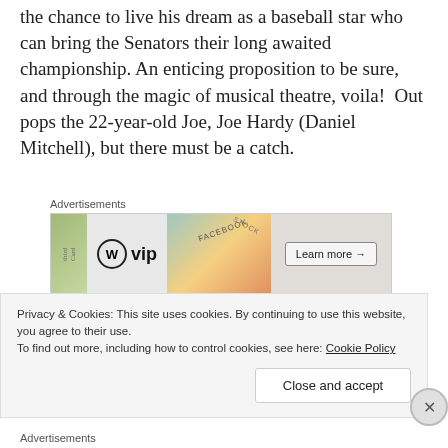the chance to live his dream as a baseball star who can bring the Senators their long awaited championship. An enticing proposition to be sure, and through the magic of musical theatre, voila!  Out pops the 22-year-old Joe, Joe Hardy (Daniel Mitchell), but there must be a catch.
[Figure (screenshot): Advertisement block with WordPress VIP logo, colorful card images, and Learn more button]
There’s much to like about this production. After a baseball-themed announcement by an
Privacy & Cookies: This site uses cookies. By continuing to use this website, you agree to their use.
To find out more, including how to control cookies, see here: Cookie Policy
Close and accept